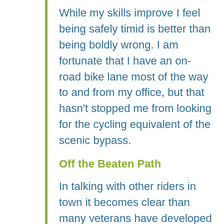While my skills improve I feel being safely timid is better than being boldly wrong. I am fortunate that I have an on-road bike lane most of the way to and from my office, but that hasn't stopped me from looking for the cycling equivalent of the scenic bypass.
Off the Beaten Path
In talking with other riders in town it becomes clear than many veterans have developed off-the-beaten-path routes that piece together back streets, parking lots and